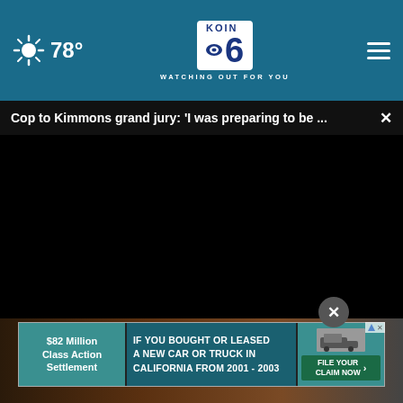KOIN 6 CBS — WATCHING OUT FOR YOU — 78°
Cop to Kimmons grand jury: 'I was preparing to be ...
[Figure (screenshot): Black video player area — paused video, no content visible]
00:00
Sursell
[Figure (infographic): Advertisement banner: $82 Million Class Action Settlement — IF YOU BOUGHT OR LEASED A NEW CAR OR TRUCK IN CALIFORNIA FROM 2001 - 2003 — FILE YOUR CLAIM NOW]